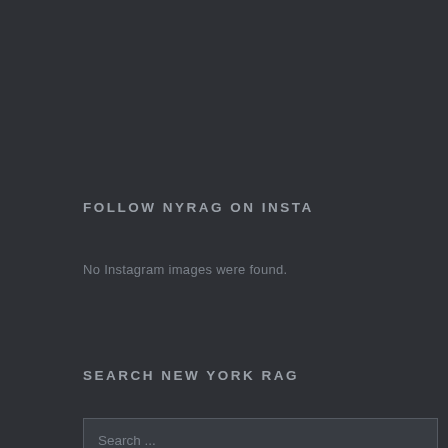FOLLOW NYRAG ON INSTA
No Instagram images were found.
SEARCH NEW YORK RAG
Search ...
CALENDAR